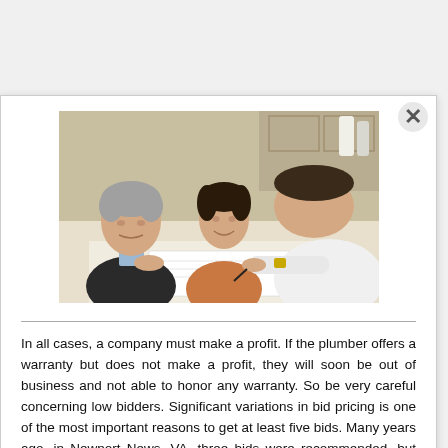[Figure (photo): Three people gathered around a table in a kitchen setting. An older man with grey hair on the left, a smiling woman with dark hair in a brown jacket in the middle, and a man in a white shirt on the right leaning over to sign a document.]
In all cases, a company must make a profit. If the plumber offers a warranty but does not make a profit, they will soon be out of business and not able to honor any warranty. So be very careful concerning low bidders. Significant variations in bid pricing is one of the most important reasons to get at least five bids. Many years ago, in Newport News, VA, three bids were recommended, but now with services like Quality-